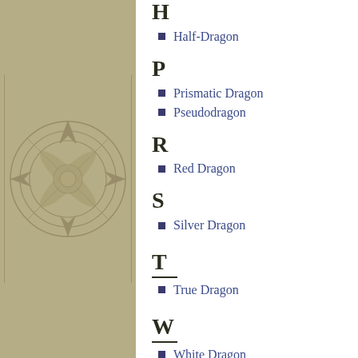[Figure (illustration): Decorative compass rose / medallion watermark on tan/olive background panel on left side of page]
H
Half-Dragon
P
Prismatic Dragon
Pseudodragon
R
Red Dragon
S
Silver Dragon
T
True Dragon
W
White Dragon
Wyvern